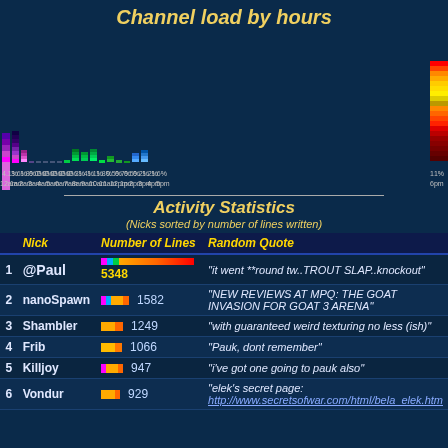Channel load by hours
[Figure (bar-chart): Channel load by hours]
Activity Statistics
(Nicks sorted by number of lines written)
| Nick | Number of Lines | Random Quote |
| --- | --- | --- |
| 1 | @Paul | 5348 | "it went **round tw..TROUT SLAP..knockout" |
| 2 | nanoSpawn | 1582 | "NEW REVIEWS AT MPQ: THE GOAT INVASION FOR GOAT 3 ARENA" |
| 3 | Shambler | 1249 | "with guaranteed weird texturing no less (ish)" |
| 4 | Frib | 1066 | "Pauk, dont remember" |
| 5 | Killjoy | 947 | "i've got one going to pauk also" |
| 6 | Vondur | 929 | "elek's secret page: http://www.secretsofwar.com/html/bela_elek.htm |